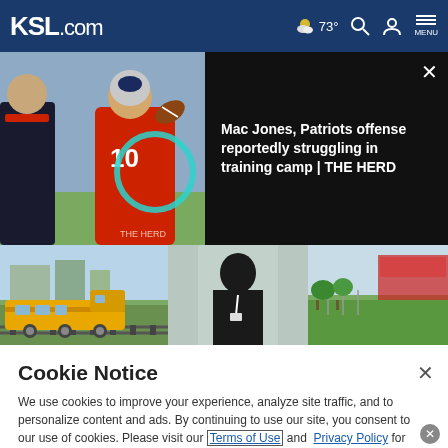KSL.com — 73° weather, search, account, menu navigation bar
[Figure (screenshot): Video thumbnail showing football player #10 (Mac Jones) throwing a pass at New England Patriots training camp, with dark right panel showing title text]
Mac Jones, Patriots offense reportedly struggling in training camp | THE HERD
[Figure (photo): Three news thumbnail images side by side: a yellow train locomotive, a silhouetted person looking out a window, and a green field/stadium scene]
Cookie Notice
We use cookies to improve your experience, analyze site traffic, and to personalize content and ads. By continuing to use our site, you consent to our use of cookies. Please visit our Terms of Use and Privacy Policy for more information